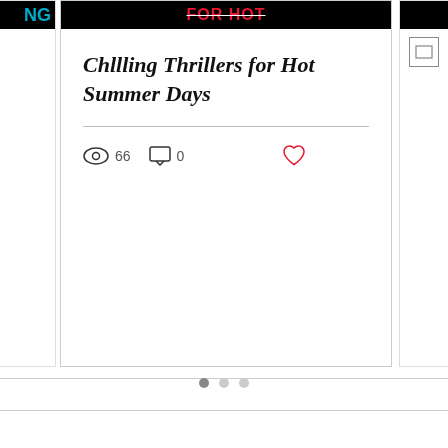Chllling Thrillers for Hot Summer Days
66
0